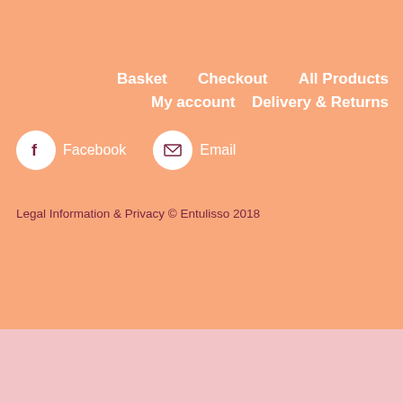Basket   Checkout   All Products
My account   Delivery & Returns
Facebook   Email
Legal Information & Privacy © Entulisso 2018